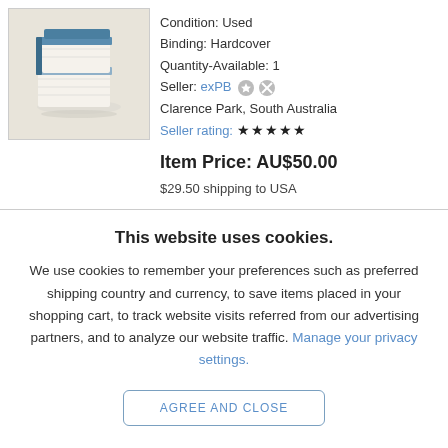[Figure (illustration): Stack of books icon with blue cover on beige/tan background]
Condition: Used
Binding: Hardcover
Quantity-Available: 1
Seller: exPB [icons]
Clarence Park, South Australia
Seller rating: ★★★★★
Item Price: AU$50.00
$29.50 shipping to USA
This website uses cookies.
We use cookies to remember your preferences such as preferred shipping country and currency, to save items placed in your shopping cart, to track website visits referred from our advertising partners, and to analyze our website traffic. Manage your privacy settings.
AGREE AND CLOSE